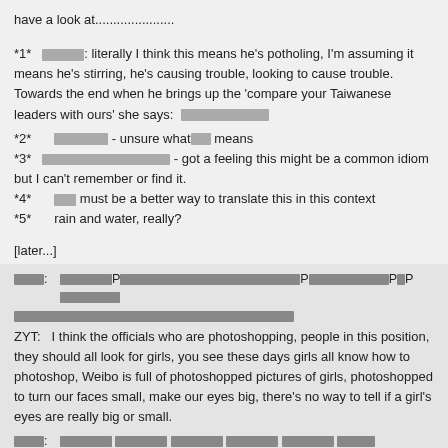have a look at......................
*1* [CJK characters]: literally I think this means he's potholing, I'm assuming it means he's stirring, he's causing trouble, looking to cause trouble. Towards the end when he brings up the 'compare your Taiwanese leaders with ours' she says: [CJK characters]
*2* [CJK characters] - unsure what [CJK] means
*3* [CJK characters] - got a feeling this might be a common idiom but I can't remember or find it.
*4* [CJK characters] must be a better way to translate this in this context
*5* rain and water, really?
[later...]
[CJK speaker]: [CJK text with P markers]
ZYT: I think the officials who are photoshopping, people in this position, they should all look for girls, you see these days girls all know how to photoshop, Weibo is full of photoshopped pictures of girls, photoshopped to turn our faces small, make our eyes big, there's no way to tell if a girl's eyes are really big or small.
[CJK speaker]: [CJK text]